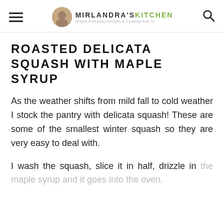MIRLANDRA'S KITCHEN Simple Everyday Recipes & Cooking How To
ROASTED DELICATA SQUASH WITH MAPLE SYRUP
As the weather shifts from mild fall to cold weather I stock the pantry with delicata squash! These are some of the smallest winter squash so they are very easy to deal with.
I wash the squash, slice it in half, drizzle in the maple syrup and it goes into the oven.